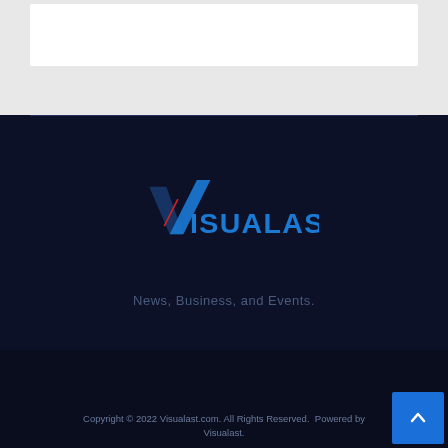[Figure (logo): White box / card area at top of page on light gray background]
[Figure (logo): Visualast logo — blue checkmark-style V with ISUALAST lettering, on dark navy background]
News, Business, and Events.
Copyright © 2022 Visualast.com. All Rights Reserved.  Powered by Visualast.